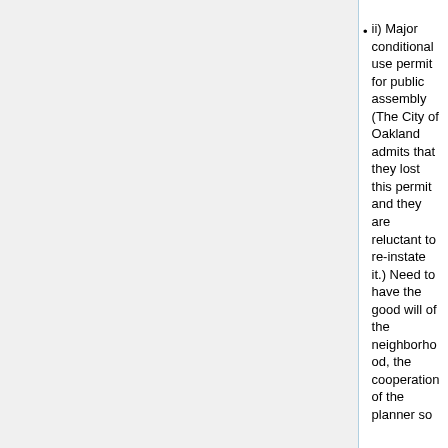ii) Major conditional use permit for public assembly (The City of Oakland admits that they lost this permit and they are reluctant to re-instate it.) Need to have the good will of the neighborhood, the cooperation of the planner so